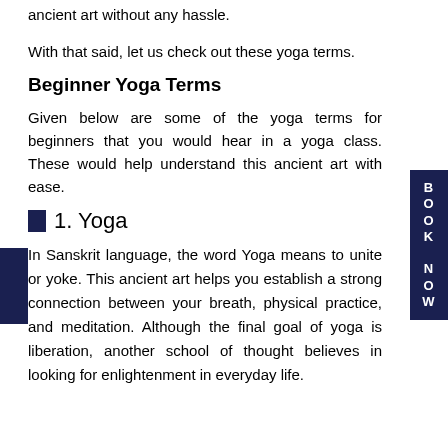ancient art without any hassle.
With that said, let us check out these yoga terms.
Beginner Yoga Terms
Given below are some of the yoga terms for beginners that you would hear in a yoga class. These would help understand this ancient art with ease.
1. Yoga
In Sanskrit language, the word Yoga means to unite or yoke. This ancient art helps you establish a strong connection between your breath, physical practice, and meditation. Although the final goal of yoga is liberation, another school of thought believes in looking for enlightenment in everyday life.